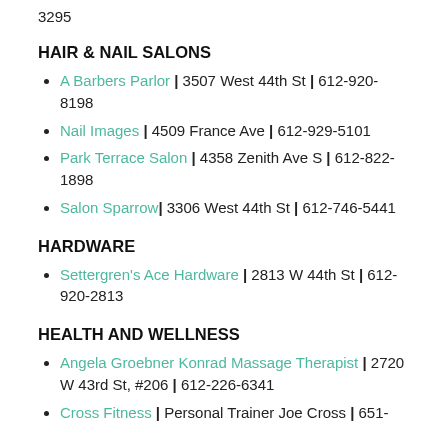3295
HAIR & NAIL SALONS
A Barbers Parlor | 3507 West 44th St | 612-920-8198
Nail Images | 4509 France Ave | 612-929-5101
Park Terrace Salon | 4358 Zenith Ave S | 612-822-1898
Salon Sparrow| 3306 West 44th St | 612-746-5441
HARDWARE
Settergren's Ace Hardware | 2813 W 44th St | 612-920-2813
HEALTH AND WELLNESS
Angela Groebner Konrad Massage Therapist | 2720 W 43rd St, #206 | 612-226-6341
Cross Fitness | Personal Trainer Joe Cross | 651-